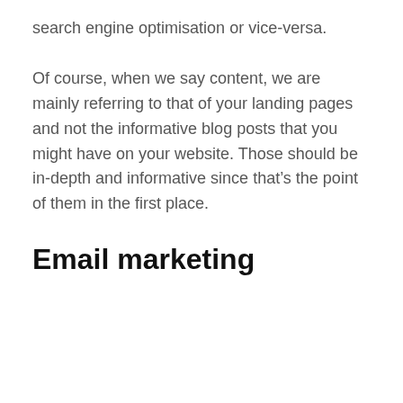search engine optimisation or vice-versa.
Of course, when we say content, we are mainly referring to that of your landing pages and not the informative blog posts that you might have on your website. Those should be in-depth and informative since that’s the point of them in the first place.
Email marketing